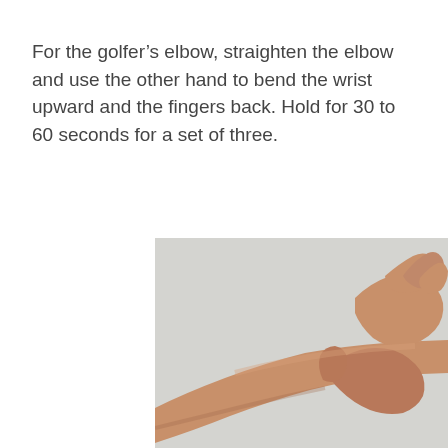For the golfer’s elbow, straighten the elbow and use the other hand to bend the wrist upward and the fingers back. Hold for 30 to 60 seconds for a set of three.
[Figure (photo): Photograph showing two hands performing a wrist stretch exercise: one arm extended with the other hand bending the wrist upward and fingers back, demonstrating the golfer’s elbow stretch.]